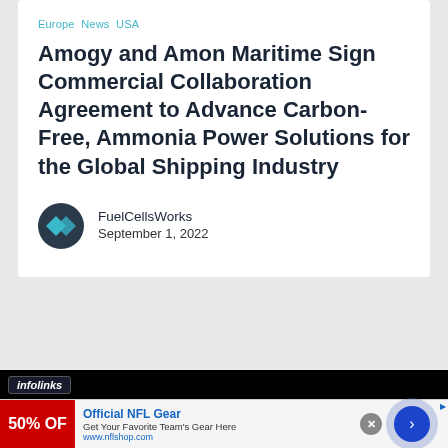Europe  News  USA
Amogy and Amon Maritime Sign Commercial Collaboration Agreement to Advance Carbon-Free, Ammonia Power Solutions for the Global Shipping Industry
FuelCellsWorks
September 1, 2022
[Figure (infographic): Infolinks advertisement banner with NFL gear ad: Official NFL Gear - Get Your Favorite Team's Gear Here - www.nflshop.com, with close button and navigation arrow]
[Figure (infographic): NFL gear promotional image showing 50% OFF on red background]